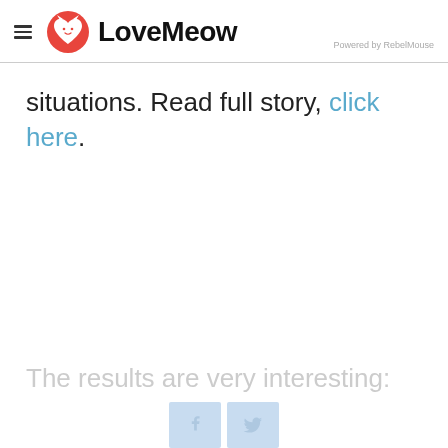LoveMeow — Powered by RebelMouse
situations. Read full story, click here.
The results are very interesting: